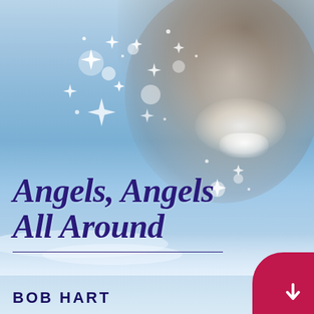[Figure (illustration): Book cover for 'Angels, Angels All Around' by Bob Hart. Features a smiling child's face softly glowing through a dreamy blue sky background with sparkles and stars scattered around. Lower portion shows the book title in dark purple italic script font, a thin horizontal line, and the author name in uppercase sans-serif. A pink/red semicircular download badge with a downward arrow appears in the bottom-right corner.]
Angels, Angels All Around
BOB HART